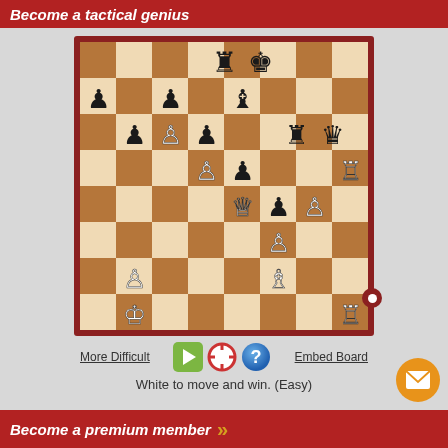Become a tactical genius
[Figure (other): Chess puzzle board showing a mid-game position with white and black pieces. White to move and win. (Easy). Controls include More Difficult link, play button, help icons, and Embed Board link.]
White to move and win. (Easy)
Become a premium member